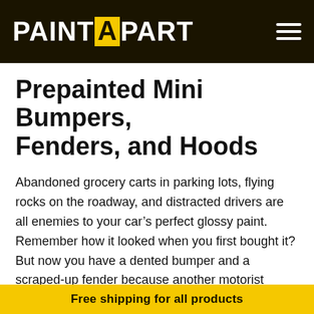PAINT A PART
Prepainted Mini Bumpers, Fenders, and Hoods
Abandoned grocery carts in parking lots, flying rocks on the roadway, and distracted drivers are all enemies to your car’s perfect glossy paint. Remember how it looked when you first bought it? But now you have a dented bumper and a scraped-up fender because another motorist wasn’t paying attention. Your insurance rate shouldn’t suffer from paying for this damage. After all, you were parked. What affordable options do you have to fix the damage yourself? Paint A Part has
Free shipping for all products